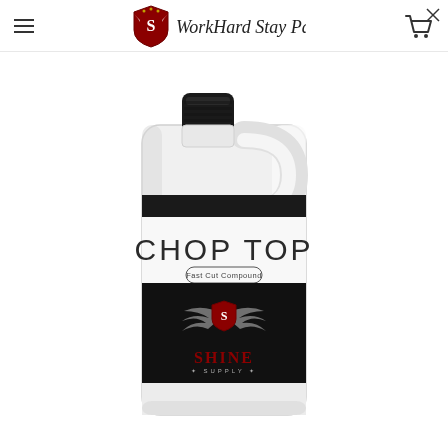Shine Supply — Work Hard Stay Passionate — navigation header with hamburger menu and cart icon
[Figure (photo): White plastic gallon jug of Shine Supply 'CHOP TOP Fast Cut Compound' with black cap, handle, black label band at top, white label area with large text 'CHOP TOP', and a black lower label section featuring the Shine Supply logo with wings, product name, and small text 'I'm diggin' that shine!' with volume info '128 FL OZ (3.784 L)']